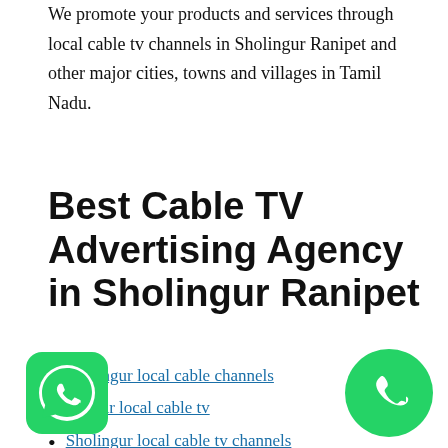We promote your products and services through local cable tv channels in Sholingur Ranipet and other major cities, towns and villages in Tamil Nadu.
Best Cable TV Advertising Agency in Sholingur Ranipet
Sholingur local cable channels
Sholingur local cable tv
Sholingur local cable tv channels